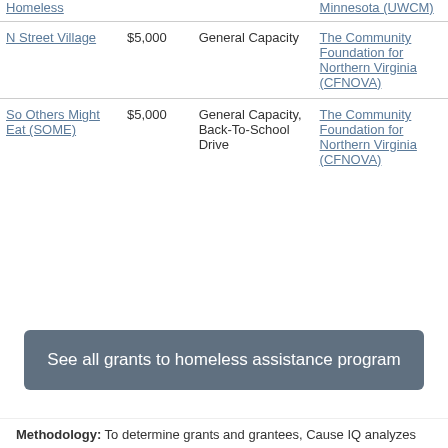| Organization | Amount | Purpose | Funder |
| --- | --- | --- | --- |
| Homeless |  |  | Minnesota (UWCM) |
| N Street Village | $5,000 | General Capacity | The Community Foundation for Northern Virginia (CFNOVA) |
| So Others Might Eat (SOME) | $5,000 | General Capacity, Back-To-School Drive | The Community Foundation for Northern Virginia (CFNOVA) |
See all grants to homeless assistance program
Methodology: To determine grants and grantees, Cause IQ analyzes